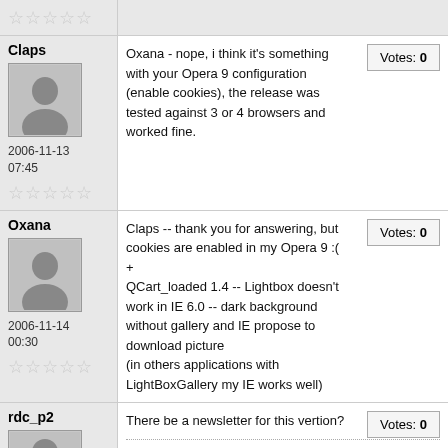Stars (partial top row)
Claps
[Figure (illustration): Default user avatar silhouette placeholder]
2006-11-13 07:45
Stars rating row
Oxana - nope, i think it's something with your Opera 9 configuration (enable cookies), the release was tested against 3 or 4 browsers and worked fine.
Votes: 0
Oxana
[Figure (illustration): Default user avatar silhouette placeholder]
2006-11-14 00:30
Stars rating row
Claps -- thank you for answering, but cookies are enabled in my Opera 9 :(
+
QCart_loaded 1.4 -- Lightbox doesn't work in IE 6.0 -- dark background without gallery and IE propose to download picture
(in others applications with LightBoxGallery my IE works well)
Votes: 0
rdc_p2
[Figure (illustration): Default user avatar silhouette placeholder]
There be a newsletter for this vertion?
Votes: 0